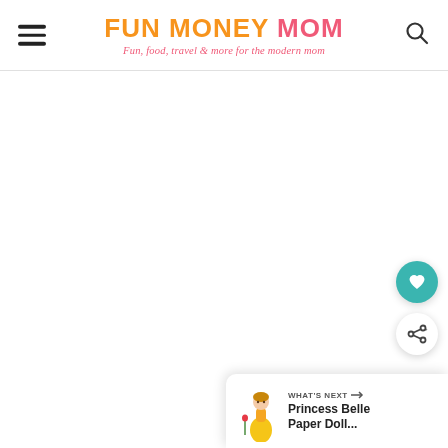FUN MONEY MOM – Fun food, travel & more for the modern mom
[Figure (screenshot): Main content area of Fun Money Mom website – blank/white area below header]
[Figure (other): Floating heart/save button (teal circle with white heart icon)]
[Figure (other): Floating share button (white circle with share icon)]
WHAT'S NEXT → Princess Belle Paper Doll...